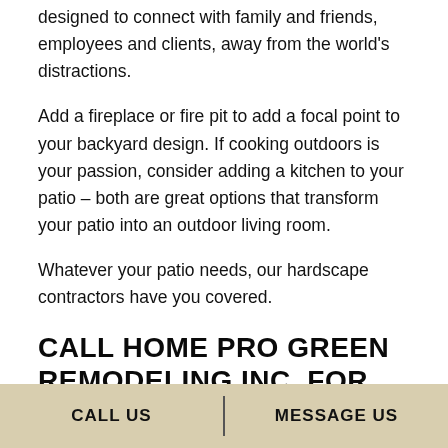designed to connect with family and friends, employees and clients, away from the world's distractions.
Add a fireplace or fire pit to add a focal point to your backyard design. If cooking outdoors is your passion, consider adding a kitchen to your patio – both are great options that transform your patio into an outdoor living room.
Whatever your patio needs, our hardscape contractors have you covered.
CALL HOME PRO GREEN REMODELING INC. FOR CUSTOM
CALL US | MESSAGE US